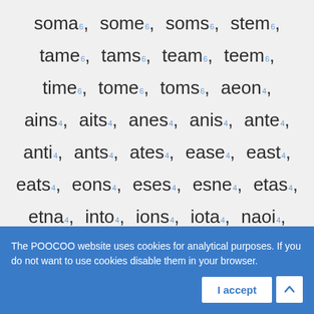soma 6, some 6, soms 6, stem 6,
tame 6, tams 6, team 6, teem 6,
time 6, tome 6, toms 6, aeon 4,
ains 4, aits 4, anes 4, anis 4, ante 4,
anti 4, ants 4, ates 4, ease 4, east 4,
eats 4, eons 4, eses 4, esne 4, etas 4,
etna 4, into 4, ions 4, iota 4, naoi 4,
naos 4, neat 4, ness 4, nest 4, nets 4,
nett 4, nite 4, nits 4, noes 4, nose 4,
The POOCOO website uses cookies for analytical purposes. If you do not want to use cookies disable them in your browser.